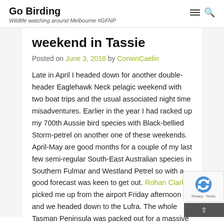Go Birding
Wildlife watching around Melbourne #GFNP
weekend in Tassie
Posted on June 3, 2018 by CorwinCaelin
Late in April I headed down for another double-header Eaglehawk Neck pelagic weekend with two boat trips and the usual associated night time misadventures. Earlier in the year I had racked up my 700th Aussie bird species with Black-bellied Storm-petrel on another one of these weekends. April-May are good months for a couple of my last few semi-regular South-East Australian species in Southern Fulmar and Westland Petrel so with a good forecast was keen to get out. Rohan Clarke picked me up from the airport Friday afternoon and we headed down to the Lufra. The whole Tasman Peninsula was packed out for a massive tuna fishing competition and there was many a bourbon and coke being consumed in the car park. The night was young so we teamed up with Gus and Elliot for a bit of